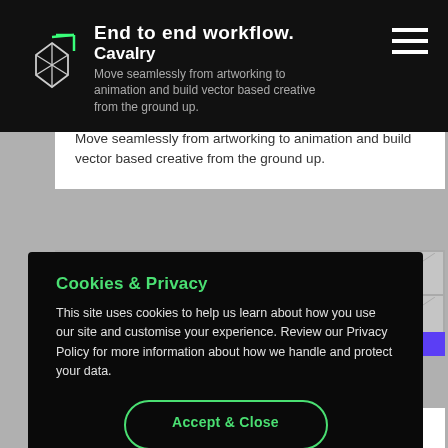End to end workflow. Cavalry
Move seamlessly from artworking to animation and build vector based creative from the ground up.
[Figure (screenshot): Gray grid background with diagonal lines in cells, and a purple accent bar]
Cookies & Privacy
This site uses cookies to help us learn about how you use our site and customise your experience. Review our Privacy Policy for more information about how we handle and protect your data.
Accept & Close
Creative playground.